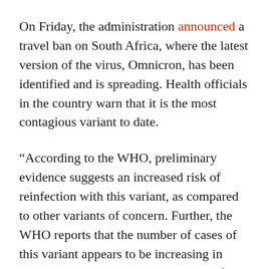On Friday, the administration announced a travel ban on South Africa, where the latest version of the virus, Omnicron, has been identified and is spreading. Health officials in the country warn that it is the most contagious variant to date.
“According to the WHO, preliminary evidence suggests an increased risk of reinfection with this variant, as compared to other variants of concern. Further, the WHO reports that the number of cases of this variant appears to be increasing in almost all provinces in the Republic of South Africa,” said an executive order issued by President Biden. Countries on the travel ban include the Republic of